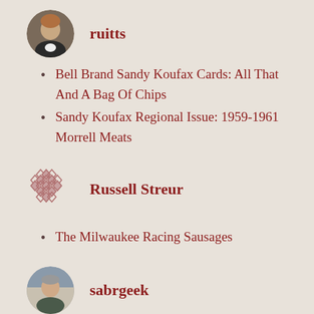[Figure (photo): Circular avatar photo of user ruitts, showing a man in a suit]
ruitts
Bell Brand Sandy Koufax Cards: All That And A Bag Of Chips
Sandy Koufax Regional Issue: 1959-1961 Morrell Meats
[Figure (logo): Diamond pattern logo/icon for user Russell Streur]
Russell Streur
The Milwaukee Racing Sausages
[Figure (photo): Circular avatar photo of user sabrgeek, showing a man]
sabrgeek
Al Rosen: 1980's Card Icon
So you want to be a full-time sports